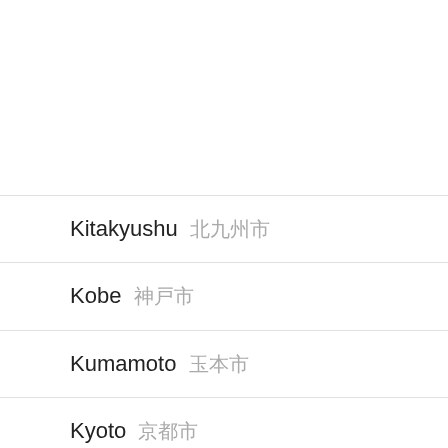Kitakyushu 北九州市
Kobe 神戸市
Kumamoto 熊本市
Kyoto 京都市
Nagoya 名古屋市
Niigata 新潟市
Osaka 大阪市
Sagamihara 相模原市
Saitama さいたま市